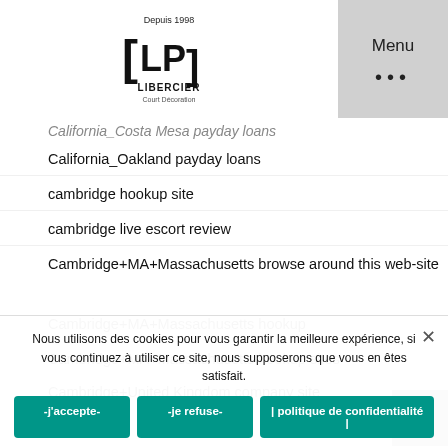[Figure (logo): LP Libercier logo with 'Depuis 1998' text above and bracket design]
Menu
California_Costa Mesa payday loans (partially visible, strikethrough style)
California_Oakland payday loans
cambridge hookup site
cambridge live escort review
Cambridge+MA+Massachusetts browse around this web-site
Cambridge+MA+Massachusetts hookup
Cambridge+MA+Massachusetts hookup sites
Cambridge+United Kingdom company site
Nous utilisons des cookies pour vous garantir la meilleure expérience, si vous continuez à utiliser ce site, nous supposerons que vous en êtes satisfait.
-j'accepte-   -je refuse-   | politique de confidentialité |